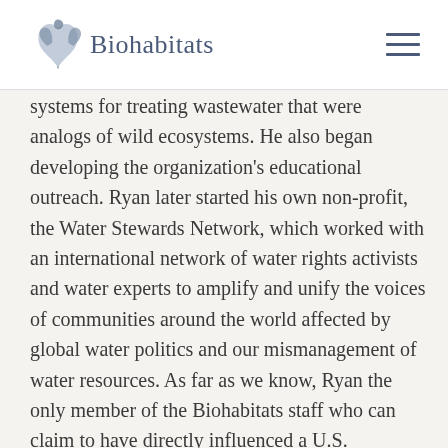Biohabitats
systems for treating wastewater that were analogs of wild ecosystems. He also began developing the organization's educational outreach. Ryan later started his own non-profit, the Water Stewards Network, which worked with an international network of water rights activists and water experts to amplify and unify the voices of communities around the world affected by global water politics and our mismanagement of water resources. As far as we know, Ryan the only member of the Biohabitats staff who can claim to have directly influenced a U.S. president. In a former non-political job managing services for